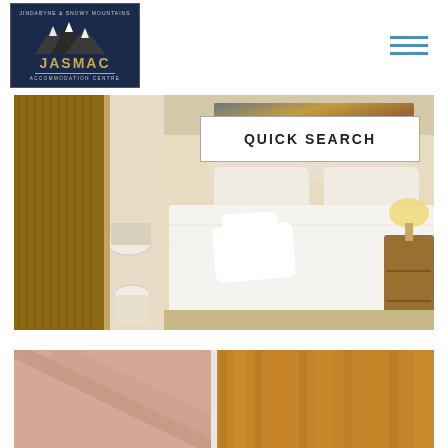[Figure (logo): JASMAC Accommodation Centre logo with mountain graphic on dark blue background]
[Figure (photo): Hotel bedroom with white bed linens, white towels, bedside lamp, wooden furniture, and en-suite bathroom visible through doorway]
QUICK SEARCH
[Figure (photo): Partial view of wooden ceiling or wall panels in warm tones]